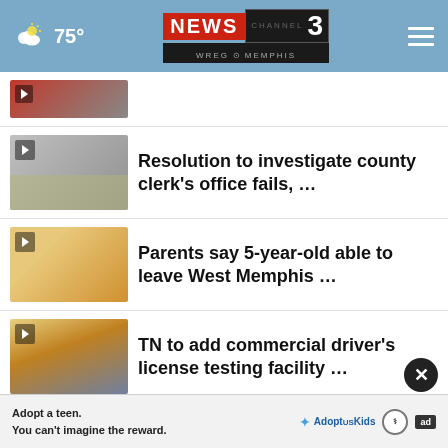75° NEWS CHANNEL 3 WREG MEMPHIS
[Figure (photo): Partial news thumbnail at top of feed (cropped, partially visible)]
Resolution to investigate county clerk's office fails, …
Parents say 5-year-old able to leave West Memphis …
TN to add commercial driver's license testing facility …
MSCS teacher receives two of Tennessee's top teaching …
Gov. Reeves declares state of emergency due to Jackson …
shooting at ex-husband's
Adopt a teen. You can't imagine the reward. Adopt US Kids ad